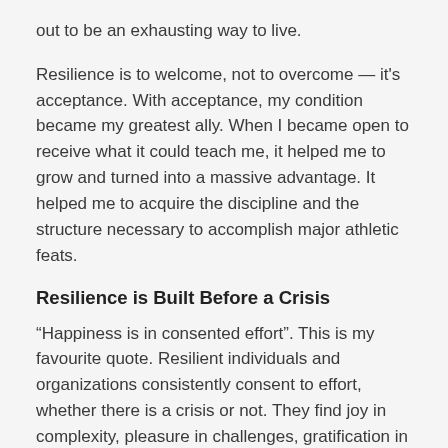out to be an exhausting way to live.
Resilience is to welcome, not to overcome — it's acceptance. With acceptance, my condition became my greatest ally. When I became open to receive what it could teach me, it helped me to grow and turned into a massive advantage. It helped me to acquire the discipline and the structure necessary to accomplish major athletic feats.
Resilience is Built Before a Crisis
“Happiness is in consented effort”. This is my favourite quote. Resilient individuals and organizations consistently consent to effort, whether there is a crisis or not. They find joy in complexity, pleasure in challenges, gratification in hard work. Along the way, they harvest the belief that no matter how difficult things get, they will always find a way to rise above the clouds. Their culture is also centered on learning and on the journey, not just on the simple pleasure of the finish line. Resilience is a muscle. It is